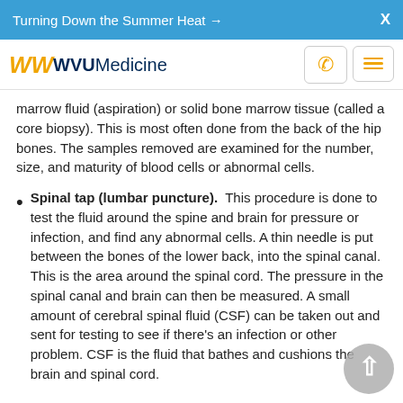Turning Down the Summer Heat →   X
WVU Medicine
marrow fluid (aspiration) or solid bone marrow tissue (called a core biopsy). This is most often done from the back of the hip bones. The samples removed are examined for the number, size, and maturity of blood cells or abnormal cells.
Spinal tap (lumbar puncture).  This procedure is done to test the fluid around the spine and brain for pressure or infection, and find any abnormal cells. A thin needle is put between the bones of the lower back, into the spinal canal. This is the area around the spinal cord. The pressure in the spinal canal and brain can then be measured. A small amount of cerebral spinal fluid (CSF) can be taken out and sent for testing to see if there's an infection or other problem. CSF is the fluid that bathes and cushions the brain and spinal cord.